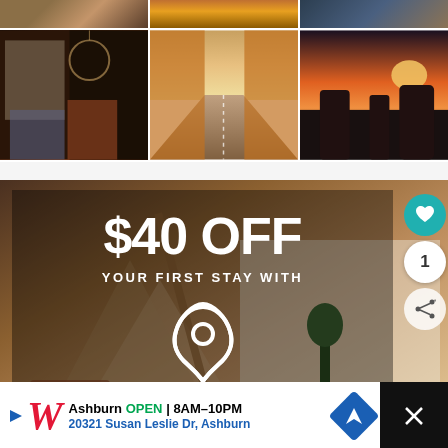[Figure (photo): Three-column photo grid top row: boho bedroom interior, autumn road flanked by orange trees, sunset coastal rocky landscape]
[Figure (photo): Three-column photo grid middle row: dark boho bedroom with dreamcatcher and orange armchair, autumn road perspective, sunset rocky coast]
[Figure (infographic): Airbnb advertisement: $40 OFF YOUR FIRST STAY WITH Airbnb logo, overlaid on boho interior photo. Side buttons: heart/save, count 1, share. Bottom: Walgreens ad banner - Ashburn OPEN 8AM-10PM, 20321 Susan Leslie Dr, Ashburn.]